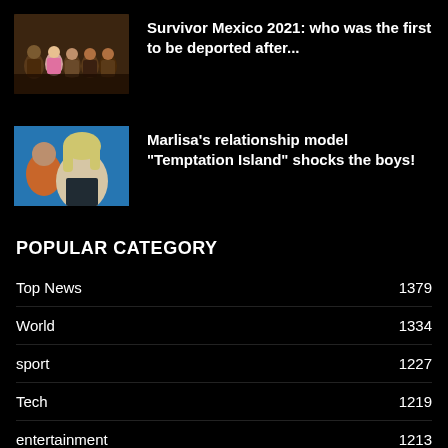[Figure (photo): Group photo of several people sitting, appearing to be contestants from Survivor Mexico]
Survivor Mexico 2021: who was the first to be deported after...
[Figure (photo): Collage of a blonde woman in the foreground against a blue background, with a man in orange in the background — related to Temptation Island]
Marlisa's relationship model "Temptation Island" shocks the boys!
POPULAR CATEGORY
Top News  1379
World  1334
sport  1227
Tech  1219
entertainment  1213
Economy  1153